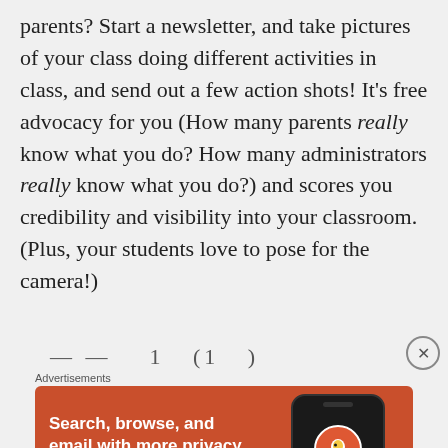parents? Start a newsletter, and take pictures of your class doing different activities in class, and send out a few action shots! It’s free advocacy for you (How many parents really know what you do? How many administrators really know what you do?) and scores you credibility and visibility into your classroom. (Plus, your students love to pose for the camera!)
[Figure (screenshot): DuckDuckGo advertisement banner with orange background showing 'Search, browse, and email with more privacy. All in One Free App' with a phone graphic showing DuckDuckGo logo]